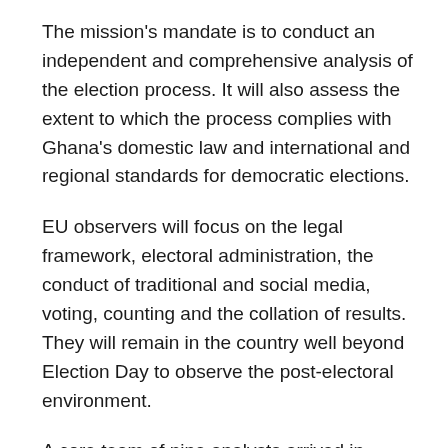The mission's mandate is to conduct an independent and comprehensive analysis of the election process. It will also assess the extent to which the process complies with Ghana's domestic law and international and regional standards for democratic elections.
EU observers will focus on the legal framework, electoral administration, the conduct of traditional and social media, voting, counting and the collation of results. They will remain in the country well beyond Election Day to observe the post-electoral environment.
A core team of nine analysts arrived in Ghana on 31 October 2020. On 7 November they were joined by 40 long-term observers (LTOs). The LTOs are being briefed on all aspects of the elections before being deployed to the country's 16 regions in the upcoming days.